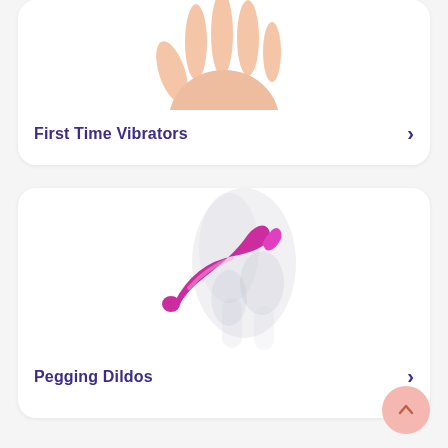[Figure (illustration): Partial view of a hand from above, cropped at top, skin-toned against white background, part of a product category card for First Time Vibrators]
First Time Vibrators
[Figure (illustration): A magenta/pink strapless dildo product shown against a faded anatomical diagram background, for Pegging Dildos category card]
Pegging Dildos